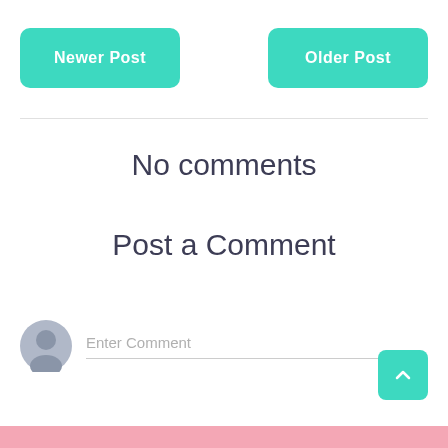[Figure (screenshot): Teal/turquoise rounded rectangle button labeled 'Newer Post' on the left]
[Figure (screenshot): Teal/turquoise rounded rectangle button labeled 'Older Post' on the right]
No comments
Post a Comment
[Figure (other): User avatar silhouette icon (grey circular avatar) with 'Enter Comment' placeholder text input field below]
[Figure (other): Teal scroll-to-top button with upward chevron arrow in bottom right corner]
[Figure (other): Pink horizontal bar at the bottom of the page]